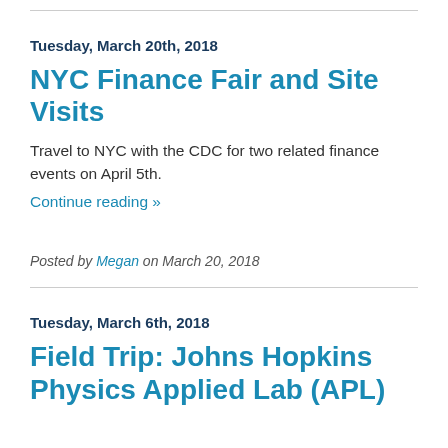Tuesday, March 20th, 2018
NYC Finance Fair and Site Visits
Travel to NYC with the CDC for two related finance events on April 5th.
Continue reading »
Posted by Megan on March 20, 2018
Tuesday, March 6th, 2018
Field Trip: Johns Hopkins Physics Applied Lab (APL)